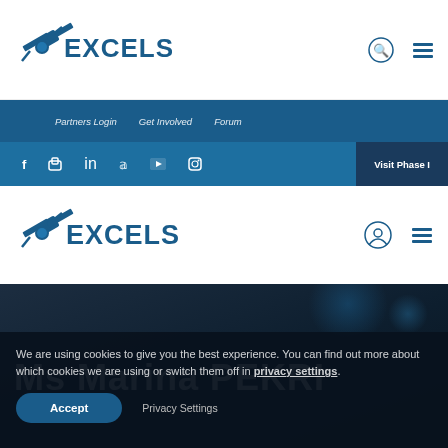[Figure (logo): Excelsior logo with satellite graphic - top navigation bar version]
Partners Login    Get Involved    Forum
f  [flickr]  in  [twitter]  [youtube]  [instagram]    Visit Phase I
[Figure (logo): Excelsior logo with satellite graphic - second/main navigation bar version]
Ms Marina PEKRI
We are using cookies to give you the best experience. You can find out more about which cookies we are using or switch them off in privacy settings.
Accept    Privacy Settings